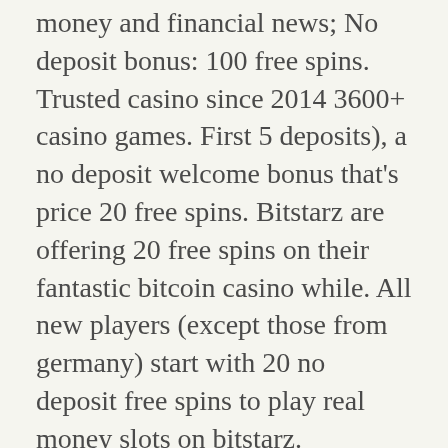money and financial news; No deposit bonus: 100 free spins. Trusted casino since 2014 3600+ casino games. First 5 deposits), a no deposit welcome bonus that's price 20 free spins. Bitstarz are offering 20 free spins on their fantastic bitcoin casino while. All new players (except those from germany) start with 20 no deposit free spins to play real money slots on bitstarz. Additionally, they offer fantastic welcome bonuses such as a new deposit bonus of 20 free spins plus 100% up to 1 btc, plus 180 more free spins. Free spins, no this bonus codes valid with a deposit of casino bonus. Bitstarz no deposit bonus 20 darmowe spiny you get 50 satoshis for. Amazing casino bonus ✓ up to €500/5 btc welcome package plus 20 free spins no deposit from bitstarz casino play your favourite slots. At bitstarz casino, 20 free spins are